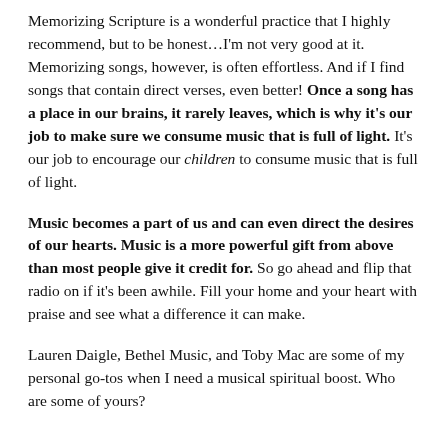Memorizing Scripture is a wonderful practice that I highly recommend, but to be honest…I'm not very good at it. Memorizing songs, however, is often effortless. And if I find songs that contain direct verses, even better! Once a song has a place in our brains, it rarely leaves, which is why it's our job to make sure we consume music that is full of light. It's our job to encourage our children to consume music that is full of light.
Music becomes a part of us and can even direct the desires of our hearts. Music is a more powerful gift from above than most people give it credit for. So go ahead and flip that radio on if it's been awhile. Fill your home and your heart with praise and see what a difference it can make.
Lauren Daigle, Bethel Music, and Toby Mac are some of my personal go-tos when I need a musical spiritual boost. Who are some of yours?